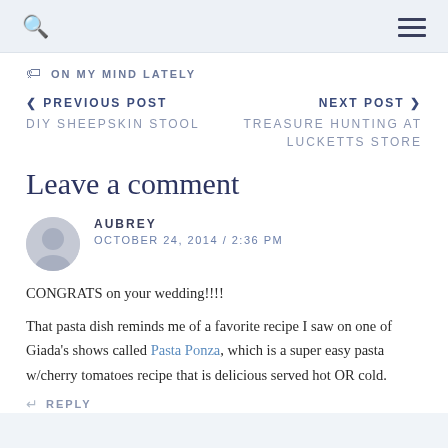ON MY MIND LATELY
< PREVIOUS POST
DIY SHEEPSKIN STOOL
NEXT POST >
TREASURE HUNTING AT LUCKETTS STORE
Leave a comment
AUBREY
OCTOBER 24, 2014 / 2:36 PM
CONGRATS on your wedding!!!!
That pasta dish reminds me of a favorite recipe I saw on one of Giada's shows called Pasta Ponza, which is a super easy pasta w/cherry tomatoes recipe that is delicious served hot OR cold.
REPLY